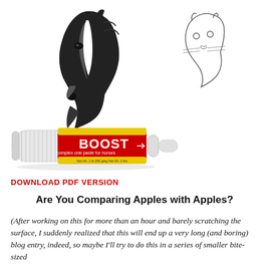[Figure (illustration): Black and white sketch/illustration of a horse head on the left and a cat or animal face on the upper right, plus a color photo of a red and yellow labeled syringe/oral paste product called 'BOOST complex oral paste for horses' in the lower center.]
DOWNLOAD PDF VERSION
Are You Comparing Apples with Apples?
(After working on this for more than an hour and barely scratching the surface, I suddenly realized that this will end up a very long (and boring) blog entry, indeed, so maybe I'll try to do this in a series of smaller bite-sized